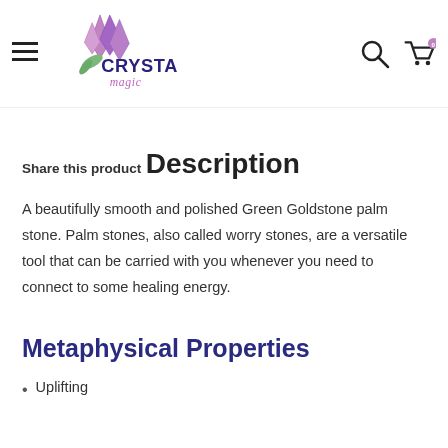Crystal Magic — navigation header with logo, hamburger menu, search icon, cart icon
Share this product
Description
A beautifully smooth and polished Green Goldstone palm stone. Palm stones, also called worry stones, are a versatile tool that can be carried with you whenever you need to connect to some healing energy.
Metaphysical Properties
Uplifting